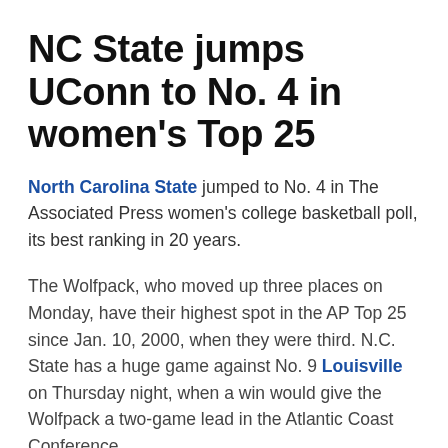NC State jumps UConn to No. 4 in women's Top 25
North Carolina State jumped to No. 4 in The Associated Press women's college basketball poll, its best ranking in 20 years.
The Wolfpack, who moved up three places on Monday, have their highest spot in the AP Top 25 since Jan. 10, 2000, when they were third. N.C. State has a huge game against No. 9 Louisville on Thursday night, when a win would give the Wolfpack a two-game lead in the Atlantic Coast Conference.